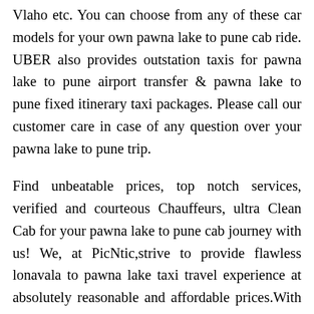Vlaho etc. You can choose from any of these car models for your own pawna lake to pune cab ride. UBER also provides outstation taxis for pawna lake to pune airport transfer & pawna lake to pune fixed itinerary taxi packages. Please call our customer care in case of any question over your pawna lake to pune trip.
Find unbeatable prices, top notch services, verified and courteous Chauffeurs, ultra Clean Cab for your pawna lake to pune cab journey with us! We, at PicNtic,strive to provide flawless lonavala to pawna lake taxi travel experience at absolutely reasonable and affordable prices.With a 24/7 customer support, none of your queries or concerns is going to be